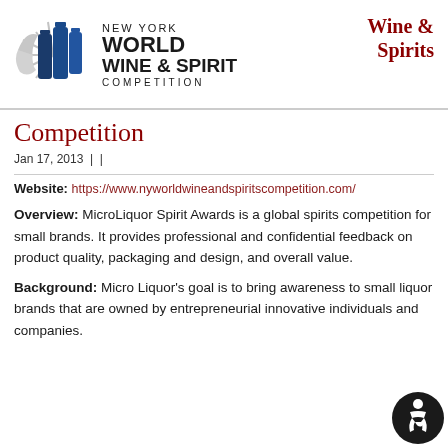[Figure (logo): New York World Wine & Spirit Competition logo with blue bottle silhouettes and grey star/hand graphic]
Wine & Spirits
Competition
Jan 17, 2013 | |
Website: https://www.nyworldwineandspiritscompetition.com/
Overview: MicroLiquor Spirit Awards is a global spirits competition for small brands. It provides professional and confidential feedback on product quality, packaging and design, and overall value.
Background: Micro Liquor's goal is to bring awareness to small liquor brands that are owned by entrepreneurial innovative individuals and companies.